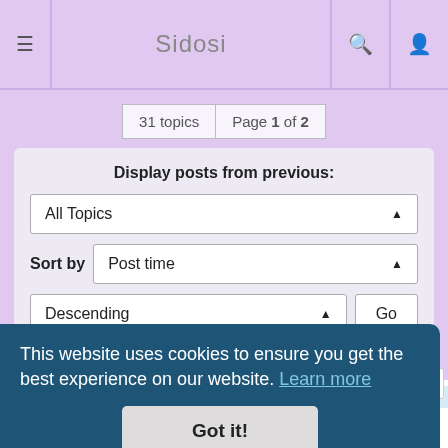≡  Sidosi  🔍  👤
31 topics  Page 1 of 2
Display posts from previous:
All Topics ▲
Sort by  Post time ▲
Descending ▲  Go
← Return to Board Index  Jump to ▾
You cannot post new topics in this forum
You cannot reply to topics in this forum
You cannot edit your posts in this forum
This website uses cookies to ensure you get the best experience on our website. Learn more
Got it!